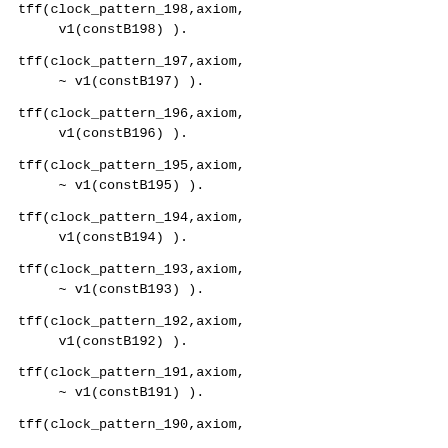tff(clock_pattern_198,axiom,
     v1(constB198) ).
tff(clock_pattern_197,axiom,
     ~ v1(constB197) ).
tff(clock_pattern_196,axiom,
     v1(constB196) ).
tff(clock_pattern_195,axiom,
     ~ v1(constB195) ).
tff(clock_pattern_194,axiom,
     v1(constB194) ).
tff(clock_pattern_193,axiom,
     ~ v1(constB193) ).
tff(clock_pattern_192,axiom,
     v1(constB192) ).
tff(clock_pattern_191,axiom,
     ~ v1(constB191) ).
tff(clock_pattern_190,axiom,
     v1(constB190) ).
tff(clock_pattern_189,axiom,
     ~ v1(constB189) ).
tff(clock_pattern_188,axiom,